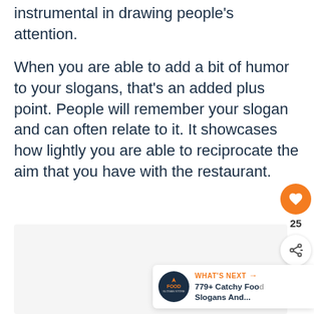instrumental in drawing people's attention.
When you are able to add a bit of humor to your slogans, that's an added plus point. People will remember your slogan and can often relate to it. It showcases how lightly you are able to reciprocate the aim that you have with the restaurant.
[Figure (other): Like/heart button (orange circle with heart icon) showing count 25, and a share button below it]
[Figure (other): What's Next promotional bar showing logo and text '779+ Catchy Food Slogans And...']
[Figure (other): Gray content placeholder box at the bottom of the page]